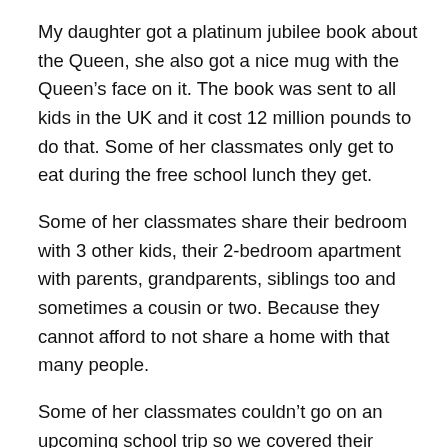My daughter got a platinum jubilee book about the Queen, she also got a nice mug with the Queen's face on it. The book was sent to all kids in the UK and it cost 12 million pounds to do that. Some of her classmates only get to eat during the free school lunch they get.
Some of her classmates share their bedroom with 3 other kids, their 2-bedroom apartment with parents, grandparents, siblings too and sometimes a cousin or two. Because they cannot afford to not share a home with that many people.
Some of her classmates couldn't go on an upcoming school trip so we covered their fees. Some of her classmates come to school in worn out uniforms because their parents cannot afford to buy them new ones. Some of her classmates' parents work multiple jobs to survive.